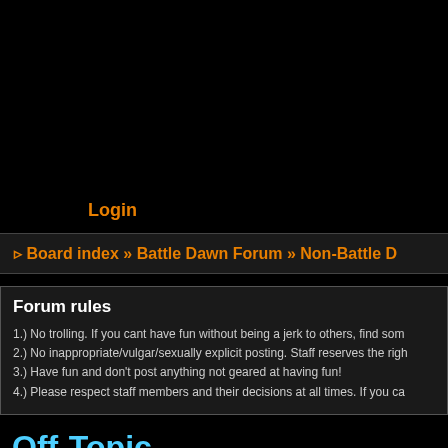Login
Board index » Battle Dawn Forum » Non-Battle D...
Forum rules
1.) No trolling. If you cant have fun without being a jerk to others, find som...
2.) No inappropriate/vulgar/sexually explicit posting. Staff reserves the righ...
3.) Have fun and don't post anything not geared at having fun!
4.) Please respect staff members and their decisions at all times. If you ca...
Off-Topic
LOCKED  Page 1 of 133  [ 3301 topics ]